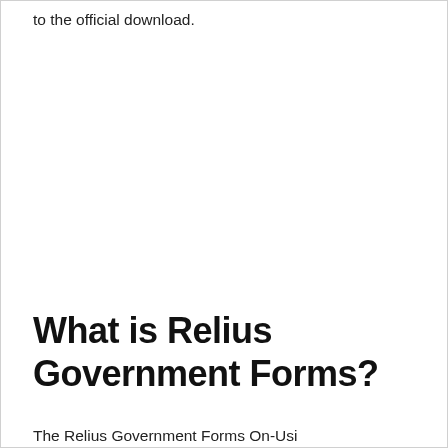to the official download.
What is Relius Government Forms?
The Relius Government Forms On-Usi...